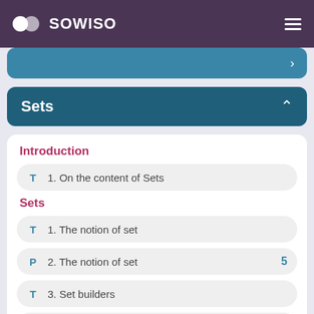SOWISO
Sets
Introduction
T  1. On the content of Sets
Sets
T  1. The notion of set
P  2. The notion of set  5
T  3. Set builders
P  4. Set builders  6